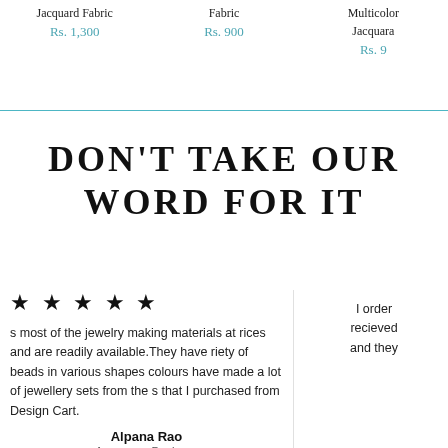Jacquard Fabric
Rs. 1,300
Fabric
Rs. 900
Multicolor Jacquard
Rs. 9...
DON'T TAKE OUR WORD FOR IT
★ ★ ★ ★ ★
s most of the jewelry making materials at rices and are readily available. They have riety of beads in various shapes colours have made a lot of jewellery sets from the s that I purchased from Design Cart.
I order recieved and they
Alpana Rao
Accessory Designer